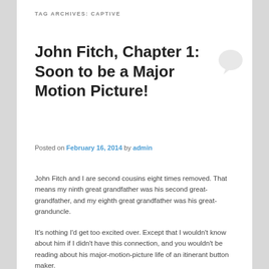TAG ARCHIVES: CAPTIVE
John Fitch, Chapter 1: Soon to be a Major Motion Picture!
Posted on February 16, 2014 by admin
John Fitch and I are second cousins eight times removed. That means my ninth great grandfather was his second great-grandfather, and my eighth great grandfather was his great-granduncle.
It's nothing I'd get too excited over. Except that I wouldn't know about him if I didn't have this connection, and you wouldn't be reading about his major-motion-picture life of an itinerant button maker.